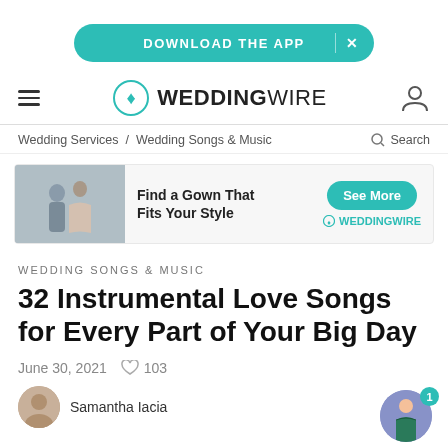DOWNLOAD THE APP
[Figure (logo): WeddingWire logo with teal tulip icon and text WEDDINGWIRE]
Wedding Services / Wedding Songs & Music   Search
[Figure (infographic): Wedding dress advertisement banner: photo of couple, text 'Find a Gown That Fits Your Style', See More button, WeddingWire logo]
WEDDING SONGS & MUSIC
32 Instrumental Love Songs for Every Part of Your Big Day
June 30, 2021   103
Samantha Iacia